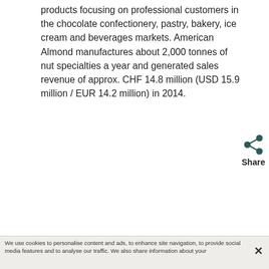products focusing on professional customers in the chocolate confectionery, pastry, bakery, ice cream and beverages markets. American Almond manufactures about 2,000 tonnes of nut specialties a year and generated sales revenue of approx. CHF 14.8 million (USD 15.9 million / EUR 14.2 million) in 2014.
We use cookies to personalise content and ads, to enhance site navigation, to provide social media features and to analyse our traffic. We also share information about your use of our site with our social media, advertising and analytics partners. By clicking “Accept All Cookies”, you agree to the storing of cookies on your device. More Information: Cookie Policy